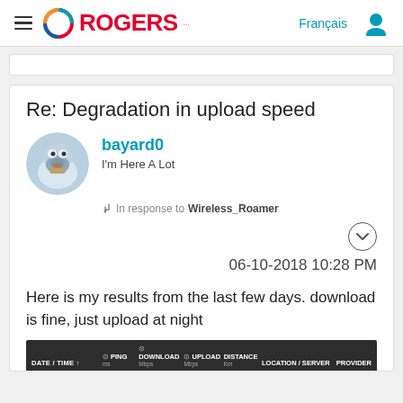Rogers (logo) | Français | user icon
Re: Degradation in upload speed
bayard0
I'm Here A Lot
In response to Wireless_Roamer
06-10-2018 10:28 PM
Here is my results from the last few days. download is fine, just upload at night
| DATE / TIME | PING ms | DOWNLOAD Mbps | UPLOAD Mbps | DISTANCE Km | LOCATION / SERVER | PROVIDER |
| --- | --- | --- | --- | --- | --- | --- |